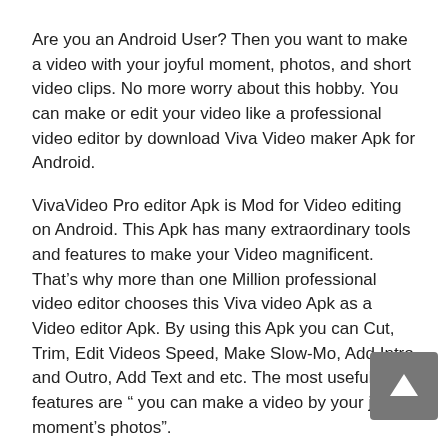Are you an Android User? Then you want to make a video with your joyful moment, photos, and short video clips. No more worry about this hobby. You can make or edit your video like a professional video editor by download Viva Video maker Apk for Android.
VivaVideo Pro editor Apk is Mod for Video editing on Android. This Apk has many extraordinary tools and features to make your Video magnificent. That's why more than one Million professional video editor chooses this Viva video Apk as a Video editor Apk. By using this Apk you can Cut, Trim, Edit Videos Speed, Make Slow-Mo, Add Intro and Outro, Add Text and etc. The most useful features are “ you can make a video by your joyful moment’s photos”.
So download VivaVideo Pro Mod Apk latest version free from the download link below and enjoy the wonderful video editor Apk.